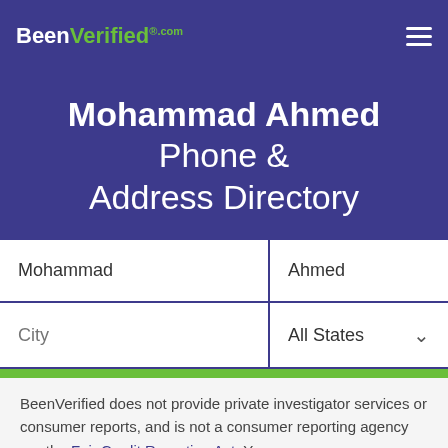BeenVerified.com
Mohammad Ahmed Phone & Address Directory
[Figure (screenshot): Search form with first name field 'Mohammad', last name field 'Ahmed', city field, and All States dropdown, plus a green SEARCH button]
BeenVerified does not provide private investigator services or consumer reports, and is not a consumer reporting agency per the Fair Credit Reporting Act. You